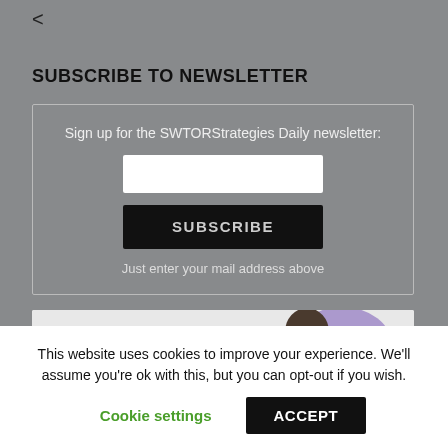<
SUBSCRIBE TO NEWSLETTER
Sign up for the SWTORStrategies Daily newsletter:
SUBSCRIBE
Just enter your mail address above
[Figure (photo): Partial image of a person with dark hair and purple graphic elements, partially visible at the bottom of the page]
This website uses cookies to improve your experience. We'll assume you're ok with this, but you can opt-out if you wish.
Cookie settings
ACCEPT